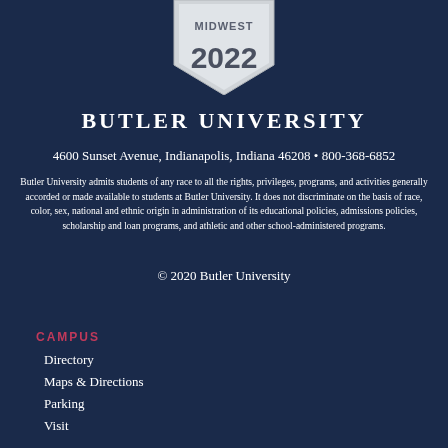[Figure (illustration): Pentagon/shield badge shape in silver/gray showing 'MIDWEST' text and '2022' year, cut off at top of page]
BUTLER UNIVERSITY
4600 Sunset Avenue, Indianapolis, Indiana 46208 • 800-368-6852
Butler University admits students of any race to all the rights, privileges, programs, and activities generally accorded or made available to students at Butler University. It does not discriminate on the basis of race, color, sex, national and ethnic origin in administration of its educational policies, admissions policies, scholarship and loan programs, and athletic and other school-administered programs.
© 2020 Butler University
CAMPUS
Directory
Maps & Directions
Parking
Visit